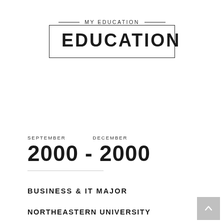MY EDUCATION
EDUCATION
SEPTEMBER   DECEMBER
2000 - 2000
BUSINESS & IT MAJOR
NORTHEASTERN UNIVERSITY